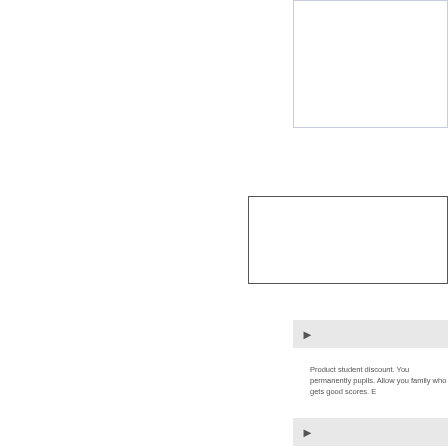[Figure (other): Blue-bordered empty rectangle in upper right area of page]
[Figure (other): Black-bordered empty rectangle in middle right area of page]
[Figure (other): Gray arrow/button bar element]
Product student discount. You permanently pupils. Allow you family who gets good scores. E
[Figure (other): Gray arrow/button bar element (second)]